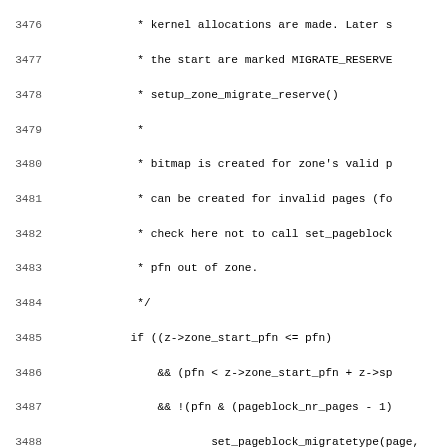Source code listing lines 3476-3507, showing C kernel code for zone_init_free_lists and related page block migration type initialization.